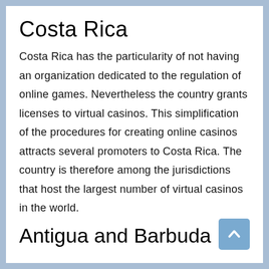Costa Rica
Costa Rica has the particularity of not having an organization dedicated to the regulation of online games. Nevertheless the country grants licenses to virtual casinos. This simplification of the procedures for creating online casinos attracts several promoters to Costa Rica. The country is therefore among the jurisdictions that host the largest number of virtual casinos in the world.
Antigua and Barbuda